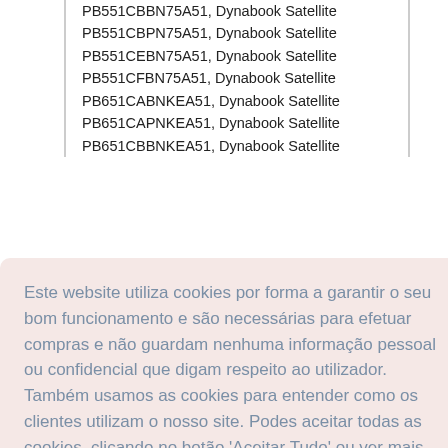PB551CBBN75A51, Dynabook Satellite
PB551CBPN75A51, Dynabook Satellite
PB551CEBN75A51, Dynabook Satellite
PB551CFBN75A51, Dynabook Satellite
PB651CABNKEA51, Dynabook Satellite
PB651CAPNKEA51, Dynabook Satellite
PB651CBBNKEA51, Dynabook Satellite
Este website utiliza cookies por forma a garantir o seu bom funcionamento e são necessárias para efetuar compras e não guardam nenhuma informação pessoal ou confidencial que digam respeito ao utilizador. Também usamos as cookies para entender como os clientes utilizam o nosso site. Podes aceitar todas as cookies, clicando no botão 'Aceitar Tudo' ou ver mais detalhes em  Politica de Privacidade
Aceitar Tudo
Satellite L40, Dynabook Satellite L41, Dynabook